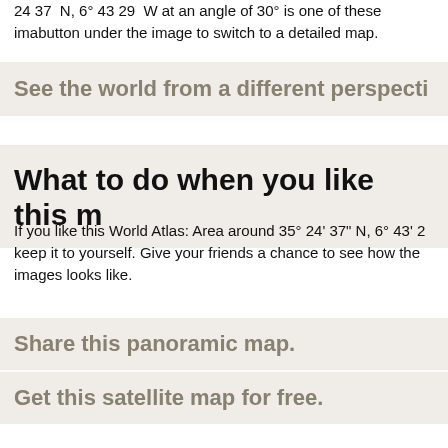24 37  N, 6° 43 29  W at an angle of 30° is one of these images. Use the button under the image to switch to a detailed map.
See the world from a different perspective
What to do when you like this m
If you like this World Atlas: Area around 35° 24' 37" N, 6° 43' 2... keep it to yourself. Give your friends a chance to see how the world images looks like.
Share this panoramic map.
Get this satellite map for free.
Is there anything more than this
Of course, there is. It has been said that Maphill world atlas m... thousand words. That's certainly true. But you can experience